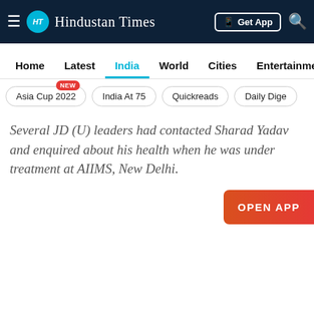Hindustan Times — Get App
Home | Latest | India | World | Cities | Entertainment
Asia Cup 2022 NEW
India At 75
Quickreads
Daily Dige...
Several JD (U) leaders had contacted Sharad Yadav and enquired about his health when he was under treatment at AIIMS, New Delhi.
[Figure (screenshot): OPEN APP button in red/orange gradient on the right side]